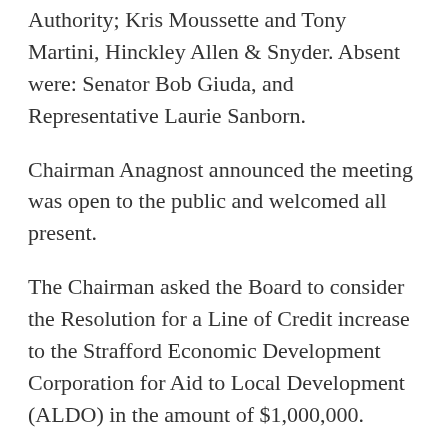Authority; Kris Moussette and Tony Martini, Hinckley Allen & Snyder. Absent were: Senator Bob Giuda, and Representative Laurie Sanborn.
Chairman Anagnost announced the meeting was open to the public and welcomed all present.
The Chairman asked the Board to consider the Resolution for a Line of Credit increase to the Strafford Economic Development Corporation for Aid to Local Development (ALDO) in the amount of $1,000,000.
Upon motion made by Director Withee and seconded by Director Henderson, the following action was voted on: